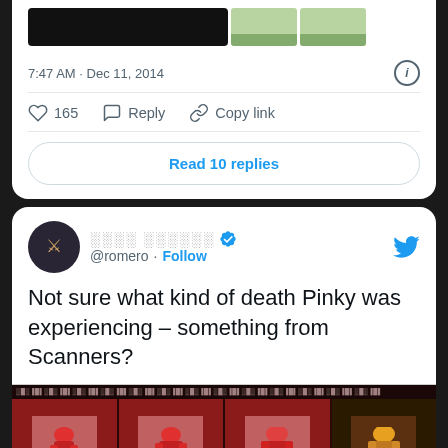[Figure (screenshot): Partial top tweet card with images, timestamp 7:47 AM Dec 11, 2014, like count 165, Reply, Copy link, Read 10 replies button]
7:47 AM · Dec 11, 2014
165   Reply   Copy link
Read 10 replies
[Figure (screenshot): Second tweet card from @romero (verified) with text about Pinky death scene from Scanners and game sprite animation frames]
░░░░ ░░░░░░ @romero · Follow
Not sure what kind of death Pinky was experiencing – something from Scanners?